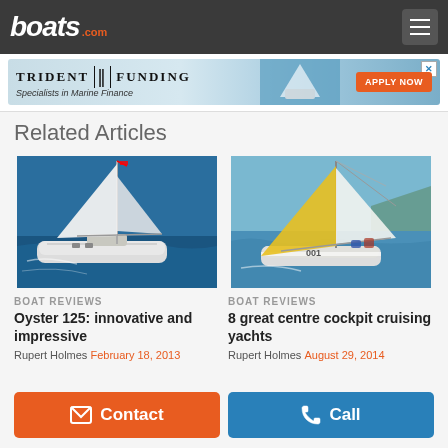boats.com
[Figure (screenshot): Trident Funding advertisement banner - Specialists in Marine Finance, Apply Now button]
Related Articles
[Figure (photo): Large white sailing yacht with tall sails on blue water - Oyster 125]
[Figure (photo): Sailing yacht with yellow and white sails on calm water - centre cockpit cruising yacht]
BOAT REVIEWS
Oyster 125: innovative and impressive
Rupert Holmes  February 18, 2013
BOAT REVIEWS
8 great centre cockpit cruising yachts
Rupert Holmes  August 29, 2014